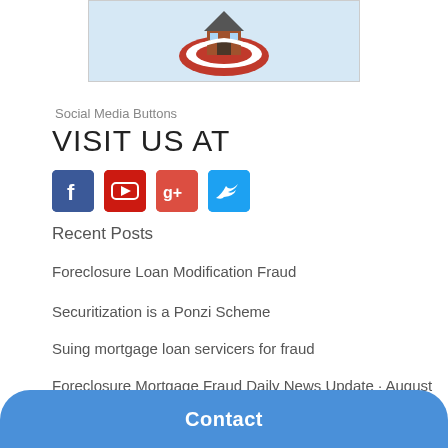[Figure (photo): A miniature house sitting on a red life preserver ring, on a light blue background.]
Social Media Buttons
VISIT US AT
[Figure (infographic): Social media icons: Facebook (blue), YouTube (red), Google+ (red), Twitter (blue)]
Recent Posts
Foreclosure Loan Modification Fraud
Securitization is a Ponzi Scheme
Suing mortgage loan servicers for fraud
Foreclosure Mortgage Fraud Daily News Update · August 31, 2022
Contact